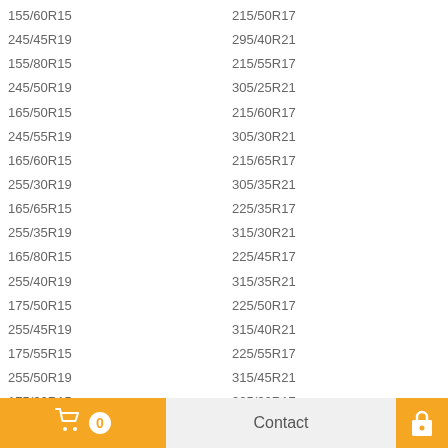155/60R15
215/50R17
245/45R19
295/40R21
155/80R15
215/55R17
245/50R19
305/25R21
165/50R15
215/60R17
245/55R19
305/30R21
165/60R15
215/65R17
255/30R19
305/35R21
165/65R15
225/35R17
255/35R19
315/30R21
165/80R15
225/45R17
255/40R19
315/35R21
175/50R15
225/50R17
255/45R19
315/40R21
175/55R15
225/55R17
255/50R19
315/45R21
175/60R15
225/60R17
255/55R19
325/25R21
175/65R15
225/65R17
255/60R19
325/30R21
175/80R15
225/70R17
255/65R19
325/40R21
185/55R15
225/75R17
265/30R19
355/25R21
185/60R15
0  Contact